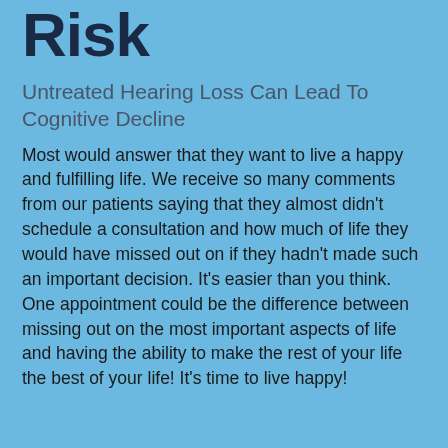Risk
Untreated Hearing Loss Can Lead To Cognitive Decline
Most would answer that they want to live a happy and fulfilling life. We receive so many comments from our patients saying that they almost didn't schedule a consultation and how much of life they would have missed out on if they hadn't made such an important decision. It's easier than you think. One appointment could be the difference between missing out on the most important aspects of life and having the ability to make the rest of your life the best of your life! It's time to live happy!